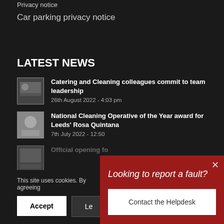Privacy notice
Car parking privacy notice
LATEST NEWS
Catering and Cleaning colleagues commit to team leadership
26th August 2022 - 4:03 pm
National Cleaning Operative of the Year award for Leeds' Rosa Quintana
7th July 2022 - 12:50
Official opening fo...
This site uses cookies. By agreeing
Accept
Le...
[Figure (other): Red popup overlay: Looking to report a fault? Contact the Helpdesk button]
Looking to report a fault?
Contact the Helpdesk